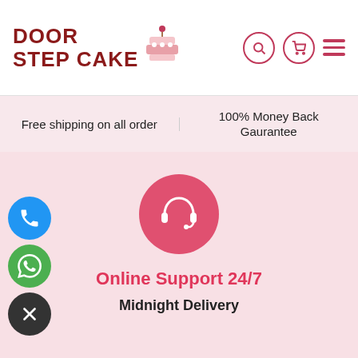[Figure (logo): Door Step Cake logo with cake icon and cherry on top]
Free shipping on all order
100% Money Back Gaurantee
[Figure (illustration): Pink circle with white headset/support icon for Online Support 24/7]
Online Support 24/7
Midnight Delivery